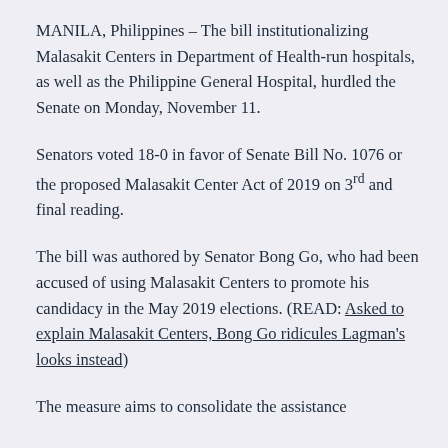MANILA, Philippines – The bill institutionalizing Malasakit Centers in Department of Health-run hospitals, as well as the Philippine General Hospital, hurdled the Senate on Monday, November 11.
Senators voted 18-0 in favor of Senate Bill No. 1076 or the proposed Malasakit Center Act of 2019 on 3rd and final reading.
The bill was authored by Senator Bong Go, who had been accused of using Malasakit Centers to promote his candidacy in the May 2019 elections. (READ: Asked to explain Malasakit Centers, Bong Go ridicules Lagman's looks instead)
The measure aims to consolidate the assistance